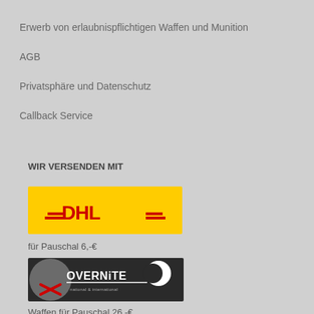Erwerb von erlaubnispflichtigen Waffen und Munition
AGB
Privatsphäre und Datenschutz
Callback Service
WIR VERSENDEN MIT
[Figure (logo): DHL logo on yellow background]
für Pauschal 6,-€
[Figure (logo): Overnite national & international logo on dark background with crescent moon]
Waffen für Pauschal 26,-€
Munition ab 29,-€